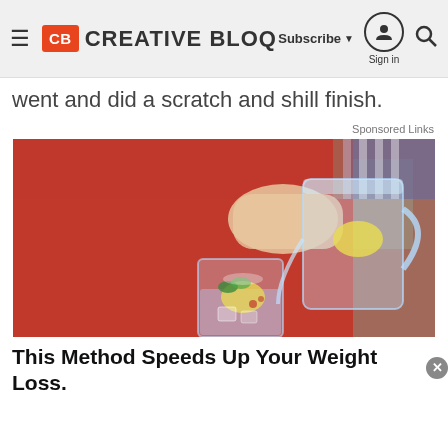Creative Bloq — CB logo, Subscribe, Sign in, Search
went and did a scratch and shill finish.
Sponsored Links
[Figure (photo): Person in red sweater pouring water with lemon from a glass pitcher into a tall glass]
This Method Speeds Up Your Weight Loss.